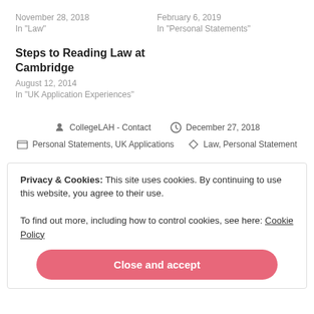November 28, 2018
In "Law"
February 6, 2019
In "Personal Statements"
Steps to Reading Law at Cambridge
August 12, 2014
In "UK Application Experiences"
CollegeLAH - Contact   December 27, 2018
Personal Statements, UK Applications   Law, Personal Statement
Privacy & Cookies: This site uses cookies. By continuing to use this website, you agree to their use.
To find out more, including how to control cookies, see here: Cookie Policy
Close and accept